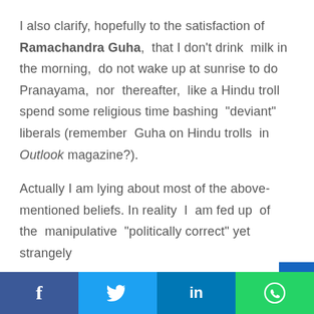I also clarify, hopefully to the satisfaction of Ramachandra Guha, that I don't drink milk in the morning, do not wake up at sunrise to do Pranayama, nor thereafter, like a Hindu troll spend some religious time bashing “deviant” liberals (remember Guha on Hindu trolls in Outlook magazine?).
Actually I am lying about most of the above-mentioned beliefs. In reality I am fed up of the manipulative “politically correct” yet strangely
Facebook | Twitter | LinkedIn | WhatsApp